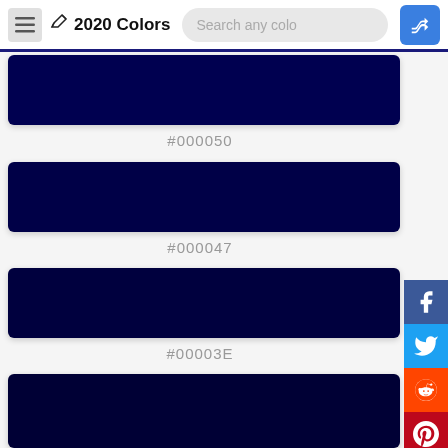2020 Colors
[Figure (other): Color swatch for #000050 — dark navy blue rectangle]
#000050
[Figure (other): Color swatch for #000047 — very dark navy blue rectangle]
#000047
[Figure (other): Color swatch for #00003E — dark navy blue rectangle]
#00003E
[Figure (other): Color swatch for next color — partial dark navy blue rectangle at bottom]